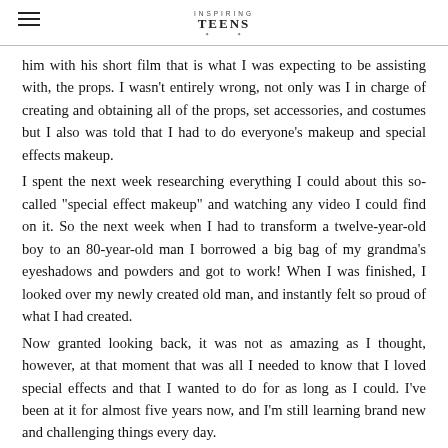INSPIRING TEENS
him with his short film that is what I was expecting to be assisting with, the props. I wasn't entirely wrong, not only was I in charge of creating and obtaining all of the props, set accessories, and costumes but I also was told that I had to do everyone's makeup and special effects makeup.
I spent the next week researching everything I could about this so-called "special effect makeup" and watching any video I could find on it. So the next week when I had to transform a twelve-year-old boy to an 80-year-old man I borrowed a big bag of my grandma's eyeshadows and powders and got to work! When I was finished, I looked over my newly created old man, and instantly felt so proud of what I had created.
Now granted looking back, it was not as amazing as I thought, however, at that moment that was all I needed to know that I loved special effects and that I wanted to do for as long as I could. I've been at it for almost five years now, and I'm still learning brand new and challenging things every day.